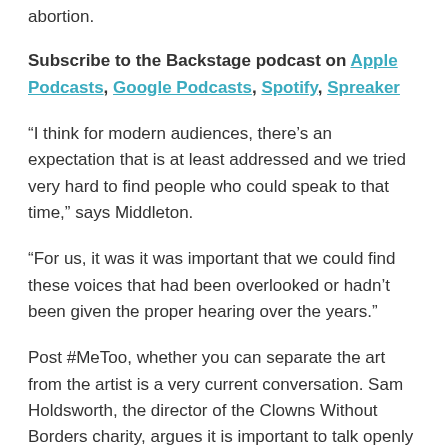abortion.
Subscribe to the Backstage podcast on Apple Podcasts, Google Podcasts, Spotify, Spreaker
“I think for modern audiences, there’s an expectation that is at least addressed and we tried very hard to find people who could speak to that time,” says Middleton.
“For us, it was it was important that we could find these voices that had been overlooked or hadn’t been given the proper hearing over the years.”
Post #MeToo, whether you can separate the art from the artist is a very current conversation. Sam Holdsworth, the director of the Clowns Without Borders charity, argues it is important to talk openly about these things.